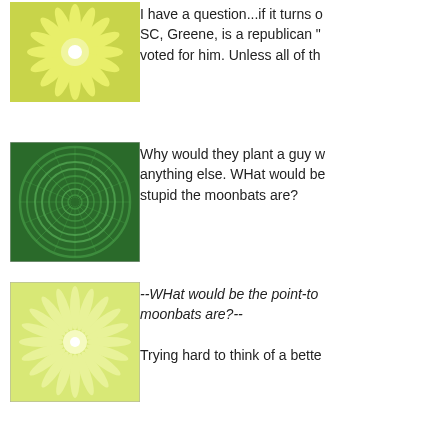[Figure (illustration): Green flower/starburst pattern avatar icon]
I have a question...if it turns out that the winner in SC, Greene, is a republican "plant", who voted for him. Unless all of th
[Figure (illustration): Dark green spiral/swirl pattern avatar icon]
Why would they plant a guy who couldn't do anything else. WHat would be the point-to show how stupid the moonbats are?
[Figure (illustration): Light green starburst pattern avatar icon]
--WHat would be the point-to show how stupid the moonbats are?--

Trying hard to think of a bette
[Figure (illustration): Light green quarter-circle burst pattern avatar icon]
I agree with Sue and Jane; if their constituents as a bunch this "plant" theme. However t themselves victims of some m unsympathetically they prese